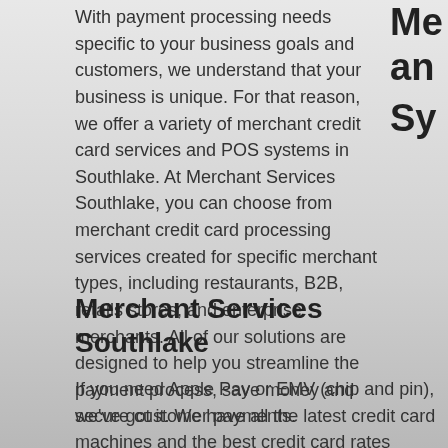With payment processing needs specific to your business goals and customers, we understand that your business is unique. For that reason, we offer a variety of merchant credit card services and POS systems in Southlake. At Merchant Services Southlake, you can choose from merchant credit card processing services created for specific merchant types, including restaurants, B2B, retails stores, and enterprise merchants. All of our solutions are designed to help you streamline the payment process, save money and secure customer payments.
Merchant Services Southlake
If you need Apple Pay or EMV (chip and pin), we've got it. We have all the latest credit card machines and the best credit card rates available. If don't